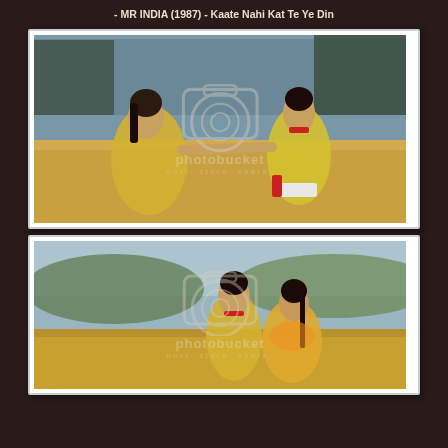- MR INDIA (1987) - Kaate Nahi Kat Te Ye Din
[Figure (photo): Movie still from MR INDIA (1987) showing a woman and man in yellow outfits sitting together, the man reaching toward the woman's hands, with a Photobucket watermark overlay. Outdoor lakeside setting.]
[Figure (photo): Second movie still from MR INDIA (1987) showing a man and woman in yellow outfits standing close together outdoors with hills in background, with a Photobucket watermark overlay. Scene is partially cut off at bottom.]